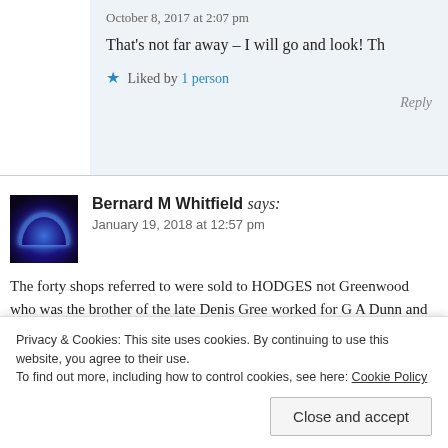October 8, 2017 at 2:07 pm
That’s not far away – I will go and look! Th
★ Liked by 1 person
Reply
Bernard M Whitfield says:
January 19, 2018 at 12:57 pm
The forty shops referred to were sold to HODGES not Greenwood who was the brother of the late Denis Gree worked for G A Dunn and Co for 30 years and for Gree fr
Privacy & Cookies: This site uses cookies. By continuing to use this website, you agree to their use.
To find out more, including how to control cookies, see here: Cookie Policy
Close and accept